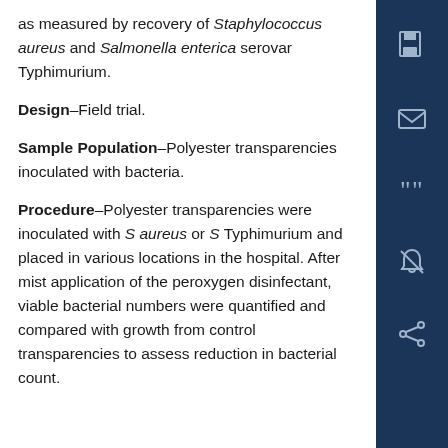as measured by recovery of Staphylococcus aureus and Salmonella enterica serovar Typhimurium.
Design–Field trial.
Sample Population–Polyester transparencies inoculated with bacteria.
Procedure–Polyester transparencies were inoculated with S aureus or S Typhimurium and placed in various locations in the hospital. After mist application of the peroxygen disinfectant, viable bacterial numbers were quantified and compared with growth from control transparencies to assess reduction in bacterial count.